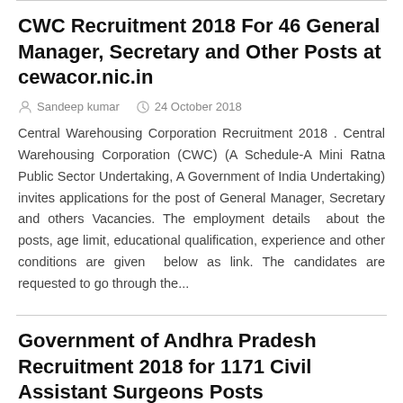CWC Recruitment 2018 For 46 General Manager, Secretary and Other Posts at cewacor.nic.in
Sandeep kumar   24 October 2018
Central Warehousing Corporation Recruitment 2018 . Central Warehousing Corporation (CWC) (A Schedule-A Mini Ratna Public Sector Undertaking, A Government of India Undertaking) invites applications for the post of General Manager, Secretary and others Vacancies. The employment details  about the posts, age limit, educational qualification, experience and other conditions are given  below as link. The candidates are requested to go through the...
Government of Andhra Pradesh Recruitment 2018 for 1171 Civil Assistant Surgeons Posts